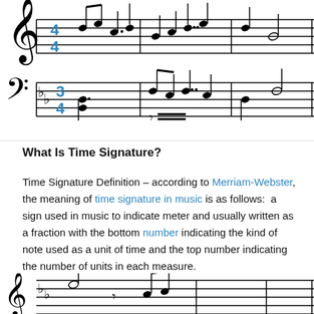[Figure (illustration): Sheet music showing treble and bass clef staves with time signatures (4/4 in blue on treble clef, 3/4 in blue on bass clef), notes, and bar lines. Two flats in key signature on bass clef.]
What Is Time Signature?
Time Signature Definition – according to Merriam-Webster, the meaning of time signature in music is as follows:  a sign used in music to indicate meter and usually written as a fraction with the bottom number indicating the kind of note used as a unit of time and the top number indicating the number of units in each measure.
[Figure (illustration): Partial sheet music at bottom of page showing treble clef with flats and notes, cut off at bottom.]